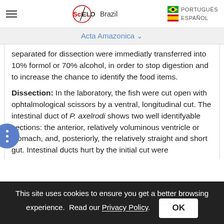SciELO Brazil | Acta Amazonica
separated for dissection were immediatly transferred into 10% formol or 70% alcohol, in order to stop digestion and to increase the chance to identify the food items.
Dissection: In the laboratory, the fish were cut open with ophtalmological scissors by a ventral, longitudinal cut. The intestinal duct of P. axelrodi shows two well identifyable sections: the anterior, relatively voluminous ventricle or stomach, and, posteriorly, the relatively straight and short gut. Intestinal ducts hurt by the initial cut were
This site uses cookies to ensure you get a better browsing experience. Read our Privacy Policy.